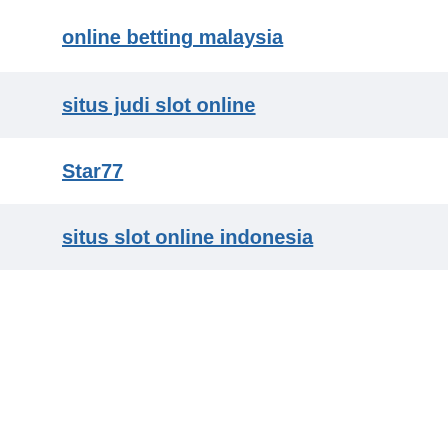online betting malaysia
situs judi slot online
Star77
situs slot online indonesia